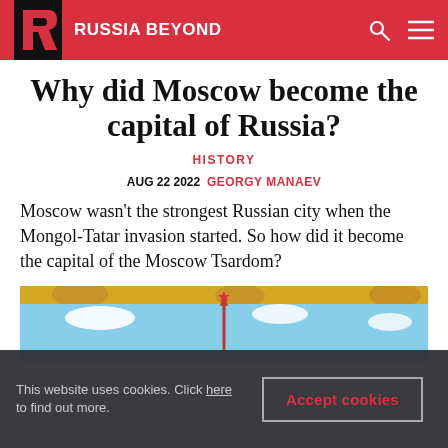RUSSIA BEYOND
Why did Moscow become the capital of Russia?
HISTORY
AUG 22 2022  GEORGY MANAEV
Moscow wasn't the strongest Russian city when the Mongol-Tatar invasion started. So how did it become the capital of the Moscow Tsardom?
[Figure (photo): Top portion of golden domes and a spire against a blue sky]
This website uses cookies. Click here to find out more.